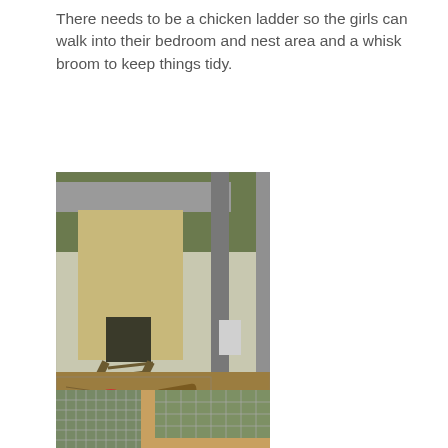There needs to be a chicken ladder so the girls can walk into their bedroom and nest area and a whisk broom to keep things tidy.
[Figure (photo): Outdoor chicken coop with wooden structure elevated on posts, enclosed by wire mesh fencing. A wooden plank ramp/ladder leads up to the coop entrance. Chicken feeders visible on the ground covered with wood chips. Trees and foliage in the background.]
[Figure (photo): Close-up view of wire mesh enclosure framing for a chicken run, showing wooden corner posts and wire mesh panels. Trees and greenery visible in the background.]